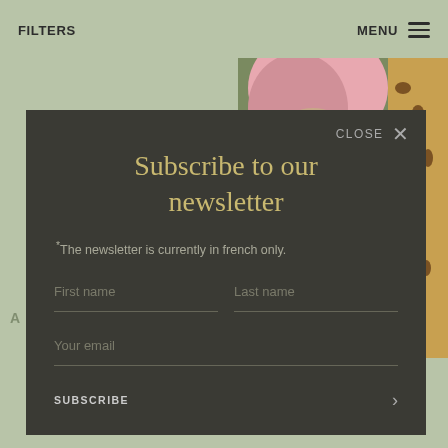FILTERS   MENU
[Figure (screenshot): Website screenshot background showing sage green page with a photo of a person with pink hair and a leopard/lynx animal on the right side]
Subscribe to our newsletter
*The newsletter is currently in french only.
First name
Last name
Your email
SUBSCRIBE